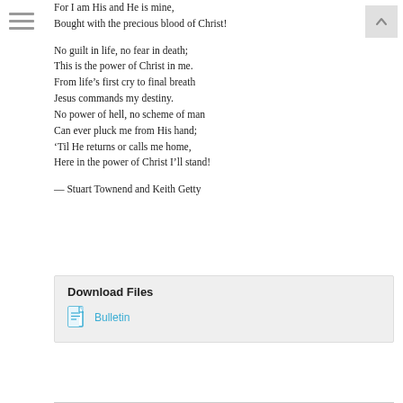For I am His and He is mine,
Bought with the precious blood of Christ!
No guilt in life, no fear in death;
This is the power of Christ in me.
From life's first cry to final breath
Jesus commands my destiny.
No power of hell, no scheme of man
Can ever pluck me from His hand;
'Til He returns or calls me home,
Here in the power of Christ I'll stand!
— Stuart Townend and Keith Getty
Download Files
Bulletin